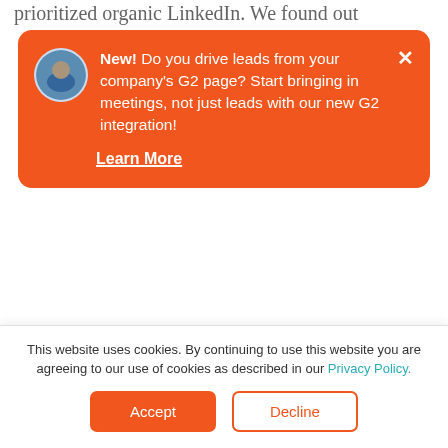prioritized organic LinkedIn. We found out
[Figure (other): Orange notification popup card with avatar photo, close button, bold 'New!' text, and 'Learn More' underlined link. Text reads: 'New! Do you drive leads from your company's G2 page? Start bringing in meetings, not just leads with our new G2 integration!']
they're saying and trends that we're seeing in market.
Um, obviously, we started a podcast this year. We started in April. Um, we've produced, I think, 12 episodes to date. Um, and our, you know, listener rate is growing r- substantially
This website uses cookies. By continuing to use this website you are agreeing to our use of cookies as described in our Privacy Policy.
Accept
Decline